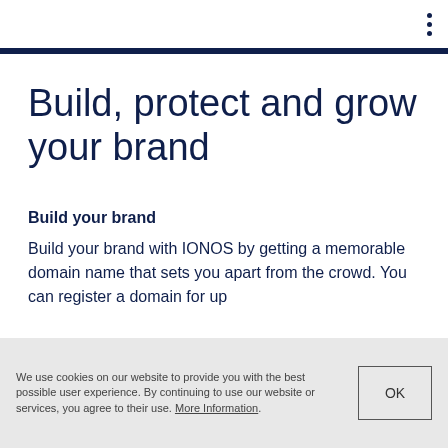⋮
Build, protect and grow your brand
Build your brand
Build your brand with IONOS by getting a memorable domain name that sets you apart from the crowd. You can register a domain for up
We use cookies on our website to provide you with the best possible user experience. By continuing to use our website or services, you agree to their use. More Information.